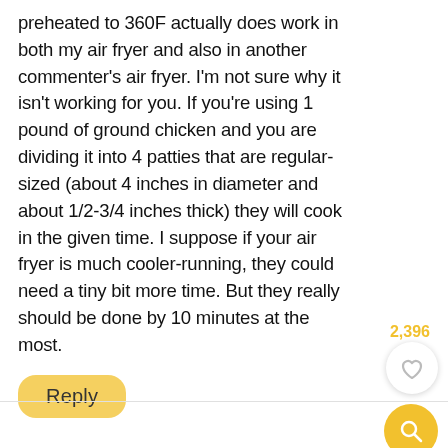preheated to 360F actually does work in both my air fryer and also in another commenter's air fryer. I'm not sure why it isn't working for you. If you're using 1 pound of ground chicken and you are dividing it into 4 patties that are regular-sized (about 4 inches in diameter and about 1/2-3/4 inches thick) they will cook in the given time. I suppose if your air fryer is much cooler-running, they could need a tiny bit more time. But they really should be done by 10 minutes at the most.
2,396
[Figure (other): Heart/like button (white circle with heart icon)]
[Figure (other): Search button (yellow circle with magnifying glass icon)]
Reply